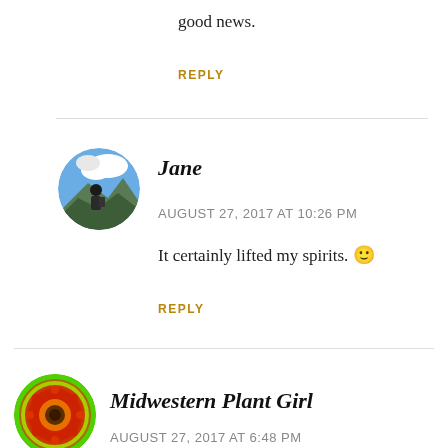good news.
REPLY
Jane
AUGUST 27, 2017 AT 10:26 PM
It certainly lifted my spirits. 🙂
REPLY
Midwestern Plant Girl
AUGUST 27, 2017 AT 6:48 PM